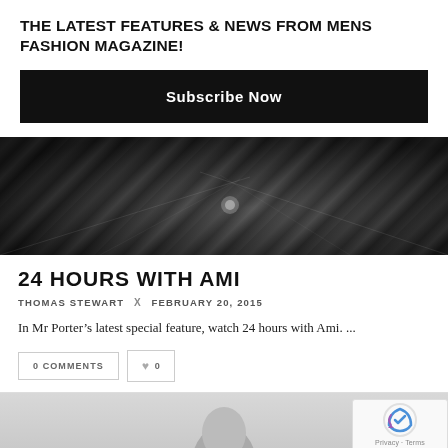THE LATEST FEATURES & NEWS FROM MENS FASHION MAGAZINE!
Subscribe Now
[Figure (photo): Black and white overhead photo of a fashion show runway with audience]
24 HOURS WITH AMI
THOMAS STEWART × FEBRUARY 20, 2015
In Mr Porter's latest special feature, watch 24 hours with Ami. ...
0 COMMENTS
0
[Figure (photo): Partial bottom image, appears to be a person, grayscale]